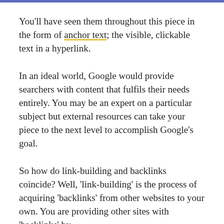You'll have seen them throughout this piece in the form of anchor text; the visible, clickable text in a hyperlink.
In an ideal world, Google would provide searchers with content that fulfils their needs entirely. You may be an expert on a particular subject but external resources can take your piece to the next level to accomplish Google's goal.
So how do link-building and backlinks coincide? Well, 'link-building' is the process of acquiring 'backlinks' from other websites to your own. You are providing other sites with 'backlinks' by